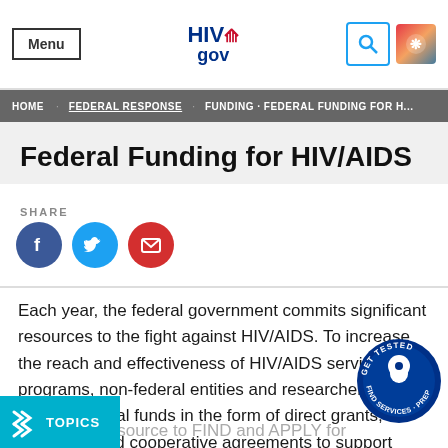Menu | HIV.gov | [search icon] | [logo icon]
Home · Federal Response · Funding · Federal Funding for HIV
Federal Funding for HIV/AIDS
SHARE
[Figure (other): Social share icons: Facebook (blue circle), Twitter (blue circle), Email (red circle with envelope)]
Each year, the federal government commits significant resources to the fight against HIV/AIDS. To increase the reach and effectiveness of HIV/AIDS services and programs, non-federal entities and researchers may receive federal funds in the form of direct grants, contracts, and cooperative agreements to support medical research and to and HIV/AIDS awareness, prevention, and treatment ces in communities across the nation. Grants.gov your primary source to FIND and APPLY for federal grants